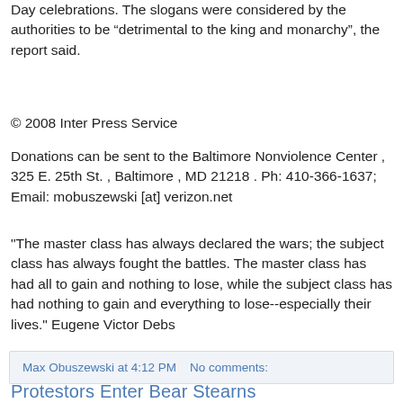Day celebrations. The slogans were considered by the authorities to be “detrimental to the king and monarchy”, the report said.
© 2008 Inter Press Service
Donations can be sent to the Baltimore Nonviolence Center , 325 E. 25th St. , Baltimore , MD 21218 . Ph: 410-366-1637; Email: mobuszewski [at] verizon.net
"The master class has always declared the wars; the subject class has always fought the battles. The master class has had all to gain and nothing to lose, while the subject class has had nothing to gain and everything to lose--especially their lives." Eugene Victor Debs
Max Obuszewski at 4:12 PM    No comments:
Protestors Enter Bear Stearns